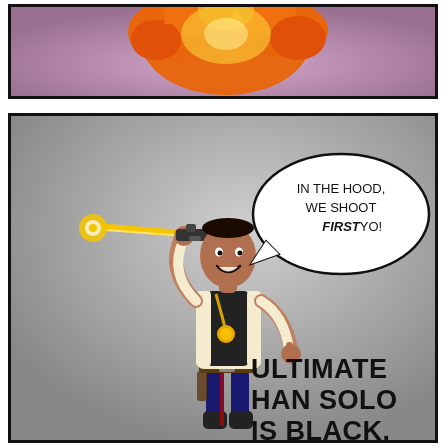[Figure (illustration): Top comic panel: orange explosion cloud on purple/mauve background]
[Figure (illustration): Bottom comic panel: A Black man dressed as Han Solo wearing a medal, holding a blaster shooting a yellow beam, giving thumbs up, on a grey background. Speech bubble reads 'IN THE HOOD, WE SHOOT FIRST YO!' Caption at bottom right reads 'ULTIMATE HAN SOLO IS BLACK.']